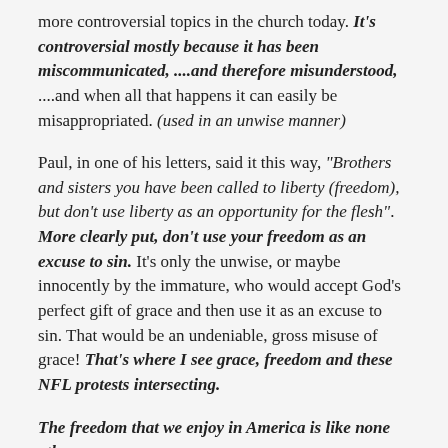more controversial topics in the church today. It's controversial mostly because it has been miscommunicated, ....and therefore misunderstood, ....and when all that happens it can easily be misappropriated. (used in an unwise manner)
Paul, in one of his letters, said it this way, "Brothers and sisters you have been called to liberty (freedom), but don't use liberty as an opportunity for the flesh". More clearly put, don't use your freedom as an excuse to sin. It's only the unwise, or maybe innocently by the immature, who would accept God's perfect gift of grace and then use it as an excuse to sin. That would be an undeniable, gross misuse of grace! That's where I see grace, freedom and these NFL protests intersecting.
The freedom that we enjoy in America is like none other